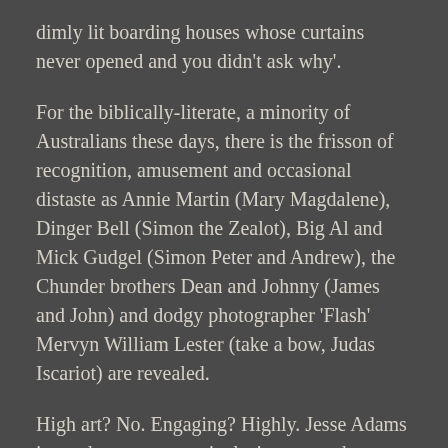dimly lit boarding houses whose curtains never opened and you didn't ask why'.
For the biblically-literate, a minority of Australians these days, there is the frisson of recognition, amusement and occasional distaste as Annie Martin (Mary Magdalene), Dinger Bell (Simon the Zealot), Big Al and Mick Gudgel (Simon Peter and Andrew), the Chunder brothers Dean and Johnny (James and John) and dodgy photographer 'Flash' Mervyn William Lester (take a bow, Judas Iscariot) are revealed.
High art? No. Engaging? Highly. Jesse Adams is on about peace; an inclusive peace that includes social outcasts such as women, immigrants, Aborigines and 'pooftahs'. Despite its subject and setting (or because